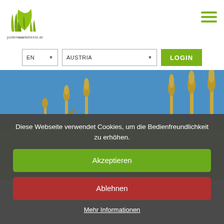[Figure (logo): Pollenwarndienst.at logo: green grass and leaf icon above the text 'pollenwarndienst.at']
[Figure (other): Hamburger menu icon (three horizontal green lines) in top right corner]
[Figure (other): Language selector showing 'EN' with dropdown arrow, country selector showing 'AUSTRIA' with dropdown arrow, and green LOGIN button]
[Figure (photo): Hero image of a field with flowering plants (ragweed/ambrosia) against a blue sky with green grass]
Diese Webseite verwendet Cookies, um die Bedienfreundlichkeit zu erhöhen.
Akzeptieren
Ablehnen
Mehr Informationen